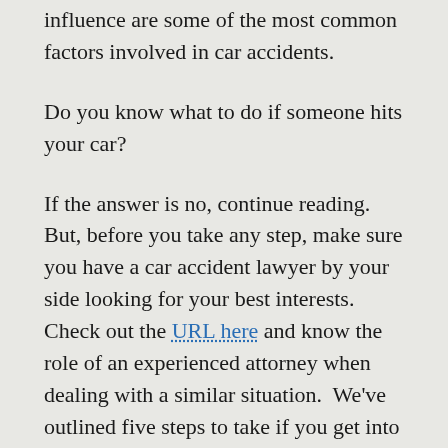influence are some of the most common factors involved in car accidents.
Do you know what to do if someone hits your car?
If the answer is no, continue reading. But, before you take any step, make sure you have a car accident lawyer by your side looking for your best interests. Check out the URL here and know the role of an experienced attorney when dealing with a similar situation. We've outlined five steps to take if you get into a car accident.
1. Secure Your Safety
If you've had an accident, the first thing to do is to make sure everyone is safe.
Step away from the vehicle and get off of the road.